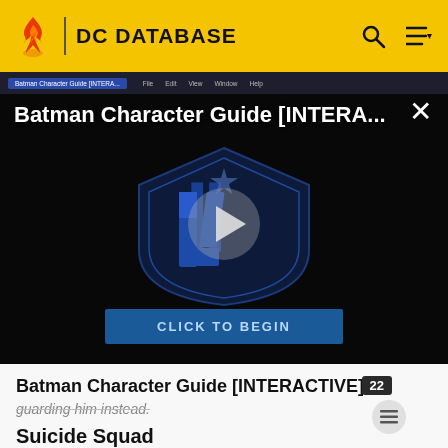DC DATABASE
[Figure (screenshot): DC Database website screenshot showing a video player with 'Batman Character Guide [INTERA...' title and a Justice League shield logo with play button and 'CLICK TO BEGIN' button]
Batman Character Guide [INTERACTIVE]
guarding him instead.
Suicide Squad
Main article: Suicide Squad: Trial by Fire